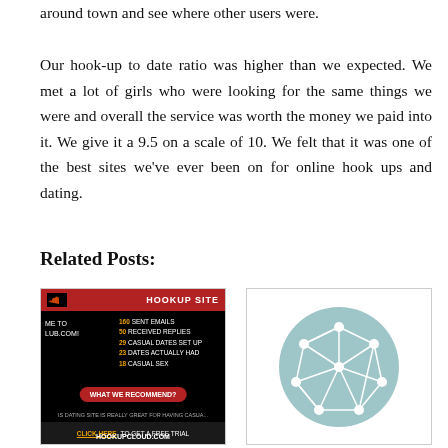around town and see where other users were.
Our hook-up to date ratio was higher than we expected. We met a lot of girls who were looking for the same things we were and overall the service was worth the money we paid into it. We give it a 9.5 on a scale of 10. We felt that it was one of the best sites we've ever been on for online hook ups and dating.
Related Posts:
[Figure (screenshot): Screenshot of a hookup site review card showing stats: 160 sent emails, 50 received replies, 29 casual dates set up, 23 dates actually had, 18 casual sex. Includes 'WHAT WE RECOMMEND?' button and HOOKUPCLOUD.COM branding.]
[Figure (illustration): A network/graph icon showing white interconnected nodes on a light blue/teal circular background.]